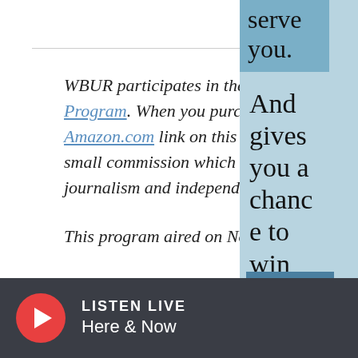WBUR participates in the Amazon Associates Program. When you purchase products through an Amazon.com link on this page, WBUR may earn a small commission which helps support our journalism and independent news.
This program aired on November 13, 2...
Related:
serve you. And gives you a chance to win WBUR swag!
SHARE YO
LISTEN LIVE Here & Now